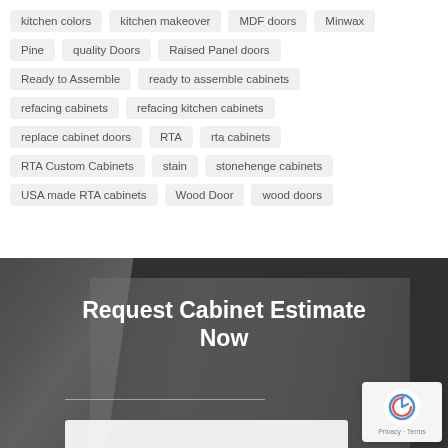kitchen colors
kitchen makeover
MDF doors
Minwax
Pine
quality Doors
Raised Panel doors
Ready to Assemble
ready to assemble cabinets
refacing cabinets
refacing kitchen cabinets
replace cabinet doors
RTA
rta cabinets
RTA Custom Cabinets
stain
stonehenge cabinets
USA made RTA cabinets
Wood Door
wood doors
Request Cabinet Estimate Now
[Figure (photo): Dark background with cabinet doors, showing a 'Request Cabinet Estimate Now' call-to-action section with a reCAPTCHA widget in the bottom right corner.]